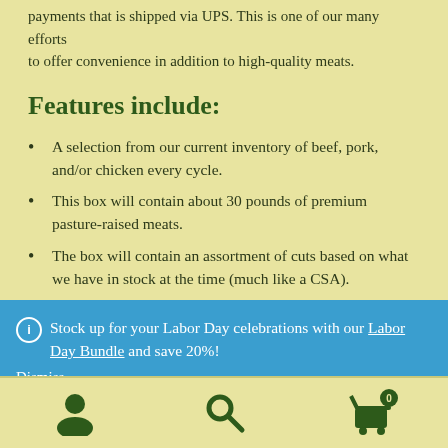payments that is shipped via UPS. This is one of our many efforts to offer convenience in addition to high-quality meats.
Features include:
A selection from our current inventory of beef, pork, and/or chicken every cycle.
This box will contain about 30 pounds of premium pasture-raised meats.
The box will contain an assortment of cuts based on what we have in stock at the time (much like a CSA).
Stock up for your Labor Day celebrations with our Labor Day Bundle and save 20%! Dismiss